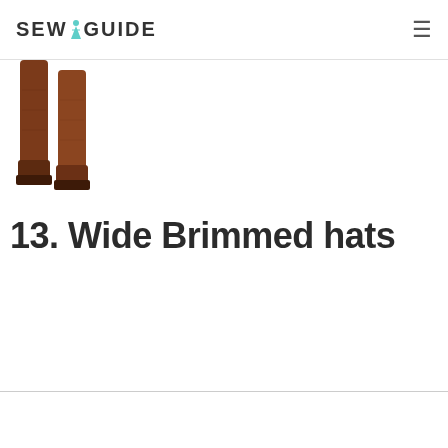SEWGUIDE
[Figure (photo): Partial view of a person wearing tall brown leather boots, cropped at thigh level showing legs and boots only]
13. Wide Brimmed hats